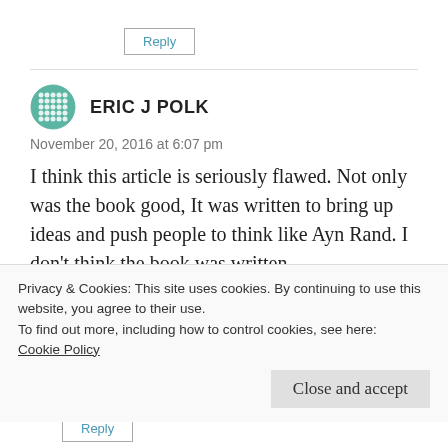Reply
ERIC J POLK
November 20, 2016 at 6:07 pm
I think this article is seriously flawed. Not only was the book good, It was written to bring up ideas and push people to think like Ayn Rand. I don't think the book was written
Privacy & Cookies: This site uses cookies. By continuing to use this website, you agree to their use.
To find out more, including how to control cookies, see here:
Cookie Policy
Close and accept
Reply